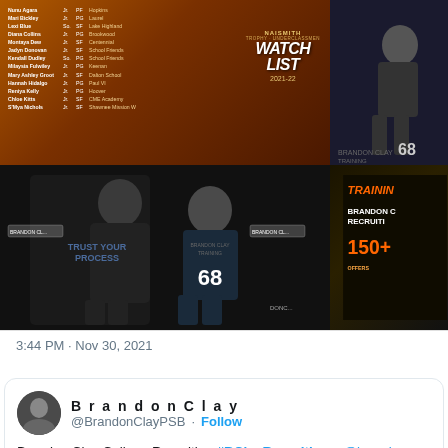[Figure (photo): Four-panel image grid showing Naismith Trophy Underclassmen Watchlist 2021-22 with player names, a basketball player photo, two people posing with Trust Your Process hoodie and jersey #68, and Brandon Clay Recruiting training promotional graphic with 150+ offers]
3:44 PM · Nov 30, 2021
BrandonClay @BrandonClayPSB · Follow
Brandon Clay College Recruiting #BClayRecruiting x @brandon